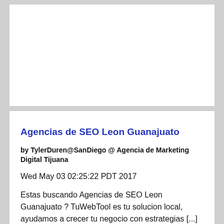[Figure (other): Blank white card/image area at top of page]
Agencias de SEO Leon Guanajuato
by TylerDuren@SanDiego @ Agencia de Marketing Digital Tijuana
Wed May 03 02:25:22 PDT 2017
Estas buscando Agencias de SEO Leon Guanajuato ? TuWebTool es tu solucion local, ayudamos a crecer tu negocio con estrategias [...]